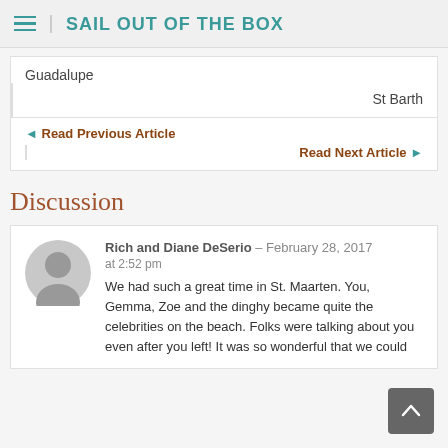SAIL OUT OF THE BOX
Guadalupe
St Barth
◄ Read Previous Article
Read Next Article ►
Discussion
Rich and Diane DeSerio – February 28, 2017 at 2:52 pm
We had such a great time in St. Maarten. You, Gemma, Zoe and the dinghy became quite the celebrities on the beach. Folks were talking about you even after you left! It was so wonderful that we could